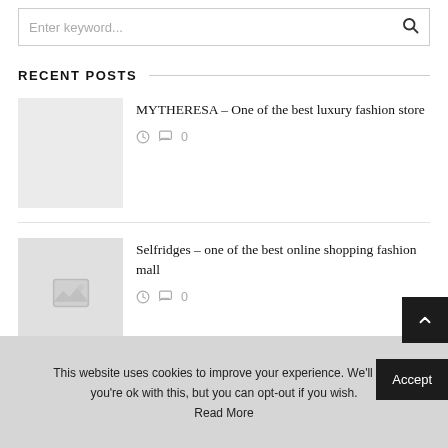Enter keyword...
RECENT POSTS
MYTHERESA – One of the best luxury fashion store
0 comments
[Figure (other): Thumbnail placeholder image (grey box)]
Selfridges – one of the best online shopping fashion mall
0 comments
[Figure (photo): Thumbnail placeholder with image icon]
This website uses cookies to improve your experience. We'll ass you're ok with this, but you can opt-out if you wish. Read More